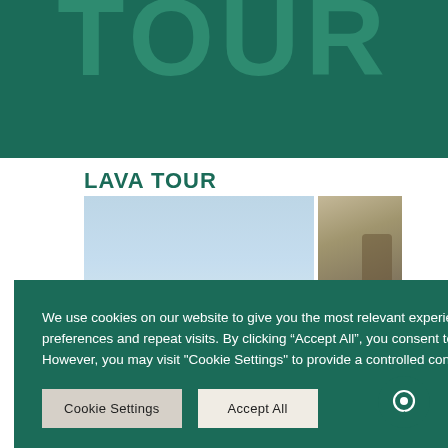TOUR
LAVA TOUR
[Figure (photo): Photo collage of a lava landscape with a person riding a horse, and two smaller nature/plant photos on the right side.]
We use cookies on our website to give you the most relevant experience by remembering your preferences and repeat visits. By clicking “Accept All”, you consent to the use of ALL the cookies. However, you may visit "Cookie Settings" to provide a controlled consent.
Cookie Settings    Accept All